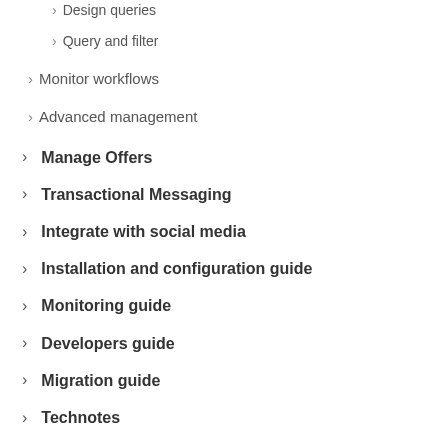Design queries
Query and filter
Monitor workflows
Advanced management
Manage Offers
Transactional Messaging
Integrate with social media
Installation and configuration guide
Monitoring guide
Developers guide
Migration guide
Technotes